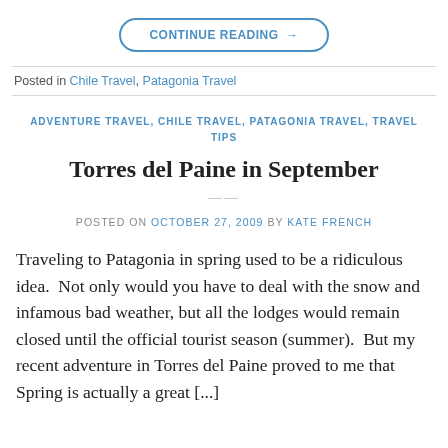CONTINUE READING →
Posted in Chile Travel, Patagonia Travel
ADVENTURE TRAVEL, CHILE TRAVEL, PATAGONIA TRAVEL, TRAVEL TIPS
Torres del Paine in September
POSTED ON OCTOBER 27, 2009 BY KATE FRENCH
Traveling to Patagonia in spring used to be a ridiculous idea.  Not only would you have to deal with the snow and infamous bad weather, but all the lodges would remain closed until the official tourist season (summer).  But my recent adventure in Torres del Paine proved to me that Spring is actually a great [...]